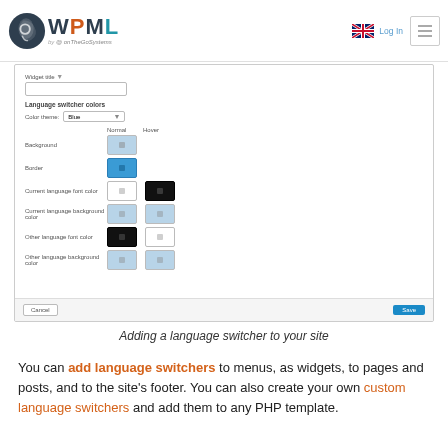WPML by @onTheGoSystems — Log In
[Figure (screenshot): WPML language switcher color settings panel showing Widget title input, Language switcher colors section with Color theme dropdown set to Blue, and color pickers for Background, Border, Current language font color, Current language background color, Other language font color, Other language background color — each with Normal and Hover columns. Cancel and Save buttons at bottom.]
Adding a language switcher to your site
You can add language switchers to menus, as widgets, to pages and posts, and to the site's footer. You can also create your own custom language switchers and add them to any PHP template.